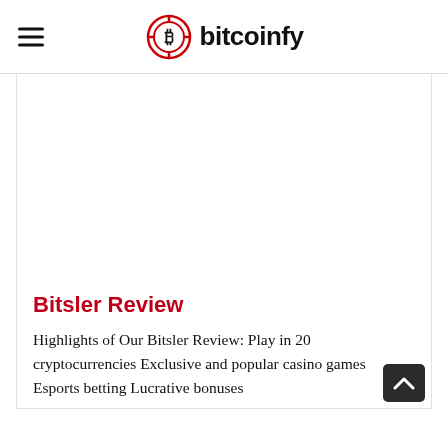bitcoinfy
[Figure (logo): Bitcoinfy logo: red circular bitcoin coin icon with crosshair/target ring, next to bold black text 'bitcoinfy']
Bitsler Review
Highlights of Our Bitsler Review: Play in 20 cryptocurrencies Exclusive and popular casino games Esports betting Lucrative bonuses